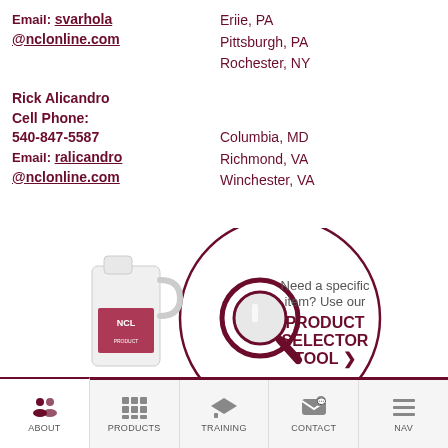Email: svarhola@nclonline.com
Eriie, PA
Pittsburgh, PA
Rochester, NY
Rick Alicandro
Cell Phone:
540-847-5587
Email: ralicandro@nclonline.com
Columbia, MD
Richmond, VA
Winchester, VA
[Figure (infographic): Product selector tool promotional graphic with a jug of cleaning product and a magnifying glass icon inside a circle. Text reads: 'Need a specific item? Use our PRODUCT SELECTOR TOOL >']
ABOUT | PRODUCTS | TRAINING | CONTACT | NAV